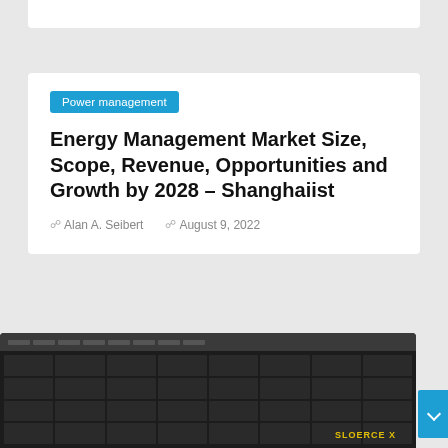Power management
Energy Management Market Size, Scope, Revenue, Opportunities and Growth by 2028 – Shanghaiist
Alan A. Seibert   August 9, 2022
[Figure (photo): Photo of a black electronic power management device (rack-mount unit) with ventilation grilles and button arrays, with SLOERCE brand text visible]